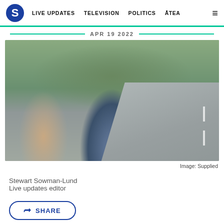S | LIVE UPDATES | TELEVISION | POLITICS | ĀTEA | ☰
APR 19 2022
[Figure (photo): Three people posing together on a rural road. Two people on the sides are shirtless, and the person in the middle is wearing a blue top and dark jacket with headphones around their neck, holding equipment. Trees and an open road with white dashes are visible in the background.]
Image: Supplied
Stewart Sowman-Lund
Live updates editor
SHARE